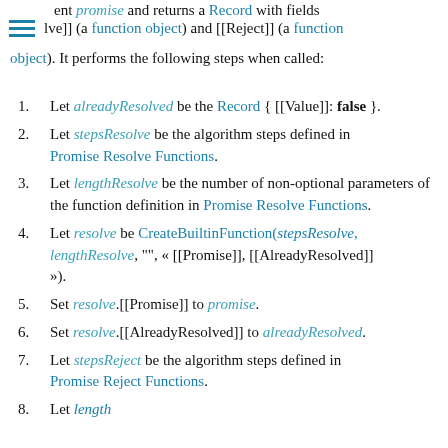ent promise and returns a Record with fields lve]] (a function object) and [[Reject]] (a function object). It performs the following steps when called:
1. Let alreadyResolved be the Record { [[Value]]: false }.
2. Let stepsResolve be the algorithm steps defined in Promise Resolve Functions.
3. Let lengthResolve be the number of non-optional parameters of the function definition in Promise Resolve Functions.
4. Let resolve be CreateBuiltinFunction(stepsResolve, lengthResolve, "", « [[Promise]], [[AlreadyResolved]] »).
5. Set resolve.[[Promise]] to promise.
6. Set resolve.[[AlreadyResolved]] to alreadyResolved.
7. Let stepsReject be the algorithm steps defined in Promise Reject Functions.
8. Let lengthReject be the number of non-optional...